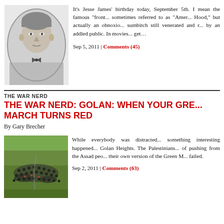[Figure (photo): Black and white oval portrait photo of Jesse James, a young man in a suit and bow tie]
It's Jesse James' birthday today, September 5th. I mean the famous "front..." sometimes referred to as "Amer... Hood," but actually an obnoxio... sumbitch still venerated and r... by an addled public. In movies... get...
Sep 5, 2011 | Comments (45)
THE WAR NERD
THE WAR NERD: GOLAN: WHEN YOUR GRE... MARCH TURNS RED
By Gary Brecher
[Figure (photo): Color photo of a large crowd of people marching through a green field toward the Golan Heights]
While everybody was distracted... something interesting happened... Golan Heights. The Palestinians... of pushing from the Assad peo... their own version of the Green M... failed.
Sep 2, 2011 | Comments (63)